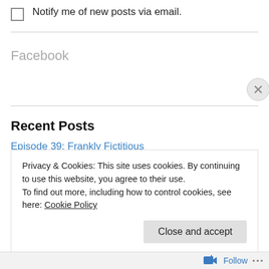Notify me of new posts via email.
Facebook
Recent Posts
Episode 39: Frankly Fictitious
Episode 38: The Grimtones
Privacy & Cookies: This site uses cookies. By continuing to use this website, you agree to their use.
To find out more, including how to control cookies, see here: Cookie Policy
Close and accept